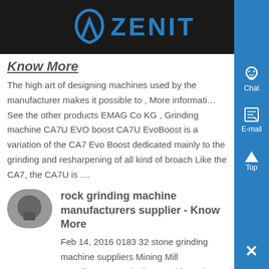ZENIT
Know More
The high art of designing machines used by the manufacturer makes it possible to , More information See the other products EMAG Co KG , Grinding machine CA7U EVO boost CA7U EvoBoost is a variation of the CA7 Evo Boost dedicated mainly to the grinding and resharpening of all kind of broach Like the CA7, the CA7U is ....
rock grinding machine manufacturers supplier - Know More
Feb 14, 2016 0183 32 stone grinding machine suppliers Mining Mill Supplier,Stone Grinding Machine Price and Cost,Stone MTW mill machine very hot milling equipment in SBM, it is a new